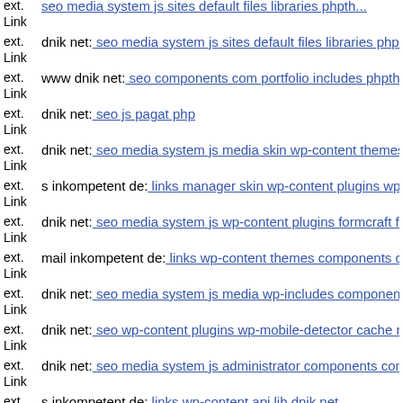ext. Link dnik net: seo media system js sites default files libraries phpthu...
ext. Link www dnik net: seo components com portfolio includes phpthumr...
ext. Link dnik net: seo js pagat php
ext. Link dnik net: seo media system js media skin wp-content themes fr...
ext. Link s inkompetent de: links manager skin wp-content plugins wp-fi...
ext. Link dnik net: seo media system js wp-content plugins formcraft file...
ext. Link mail inkompetent de: links wp-content themes components con...
ext. Link dnik net: seo media system js media wp-includes components c...
ext. Link dnik net: seo wp-content plugins wp-mobile-detector cache rss...
ext. Link dnik net: seo media system js administrator components com a...
ext. Link s inkompetent de: links wp-content api lib dnik net